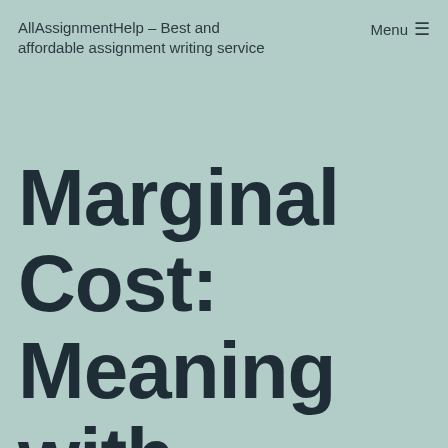AllAssignmentHelp – Best and affordable assignment writing service
Menu ≡
Marginal Cost: Meaning with Example and Feature